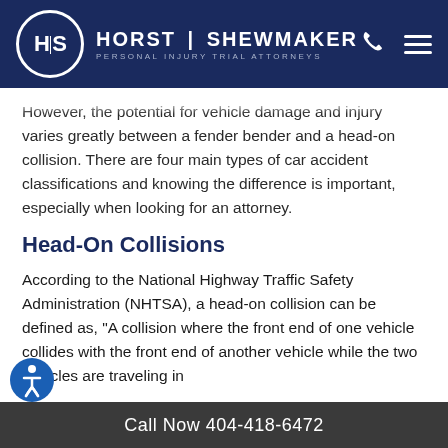HORST SHEWMAKER — PERSONAL INJURY TRIAL ATTORNEYS
However, the potential for vehicle damage and injury varies greatly between a fender bender and a head-on collision. There are four main types of car accident classifications and knowing the difference is important, especially when looking for an attorney.
Head-On Collisions
According to the National Highway Traffic Safety Administration (NHTSA), a head-on collision can be defined as, "A collision where the front end of one vehicle collides with the front end of another vehicle while the two vehicles are traveling in
Call Now 404-418-6472